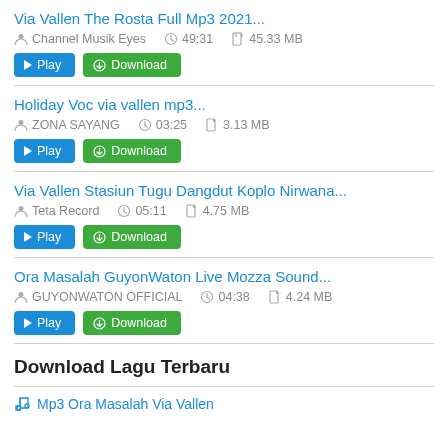Via Vallen The Rosta Full Mp3 2021... | Channel Musik Eyes | 49:31 | 45.33 MB
Holiday Voc via vallen mp3... | ZONA SAYANG | 03:25 | 3.13 MB
Via Vallen Stasiun Tugu Dangdut Koplo Nirwana... | Teta Record | 05:11 | 4.75 MB
Ora Masalah GuyonWaton Live Mozza Sound... | GUYONWATON OFFICIAL | 04:38 | 4.24 MB
Download Lagu Terbaru
Mp3 Ora Masalah Via Vallen